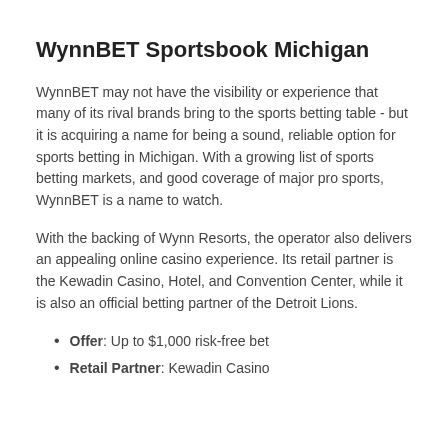WynnBET Sportsbook Michigan
WynnBET may not have the visibility or experience that many of its rival brands bring to the sports betting table - but it is acquiring a name for being a sound, reliable option for sports betting in Michigan. With a growing list of sports betting markets, and good coverage of major pro sports, WynnBET is a name to watch.
With the backing of Wynn Resorts, the operator also delivers an appealing online casino experience. Its retail partner is the Kewadin Casino, Hotel, and Convention Center, while it is also an official betting partner of the Detroit Lions.
Offer: Up to $1,000 risk-free bet
Retail Partner: Kewadin Casino